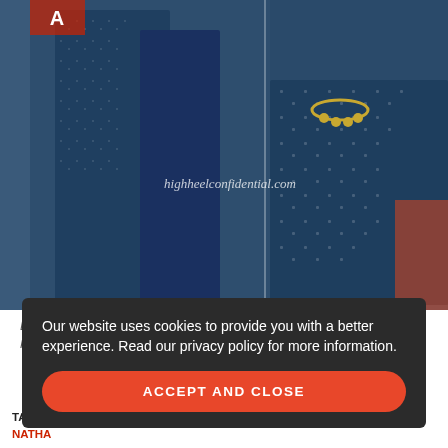[Figure (photo): Deepika Padukone at Tamasha Trailer Launch wearing a dark blue patterned long outfit with gold necklace, shown in two panel photo with watermark highheelconfidential.com]
Deepika Padukone at Tamasha Trailer Launch
Photo Credit: Filmicafe.com
Our website uses cookies to provide you with a better experience. Read our privacy policy for more information.
ACCEPT AND CLOSE
TAGS: AMRAPALI, AQUAMARINE, DEEPIKA PADUKONE, SALONI, SHALE NATHA